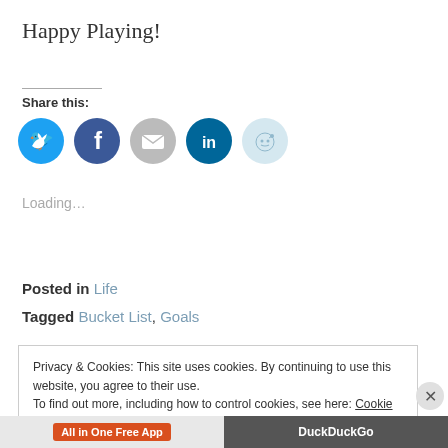Happy Playing!
Share this:
[Figure (illustration): Social sharing icons: Twitter (blue), Facebook (blue), Email (gray), LinkedIn (dark teal), Reddit (light blue)]
Loading...
Posted in Life
Tagged Bucket List, Goals
Privacy & Cookies: This site uses cookies. By continuing to use this website, you agree to their use. To find out more, including how to control cookies, see here: Cookie Policy
Close and accept